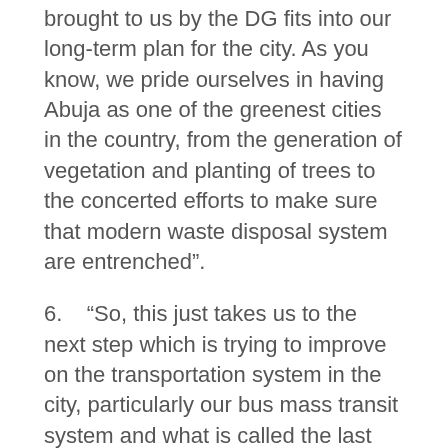brought to us by the DG fits into our long-term plan for the city. As you know, we pride ourselves in having Abuja as one of the greenest cities in the country, from the generation of vegetation and planting of trees to the concerted efforts to make sure that modern waste disposal system are entrenched”.
6.    “So, this just takes us to the next step which is trying to improve on the transportation system in the city, particularly our bus mass transit system and what is called the last mile”. The Minister added.
7.    In continuation, the Minister said “That is why if you noticed in many parts of the city now, we don’t allow tricycles and motorcycles to